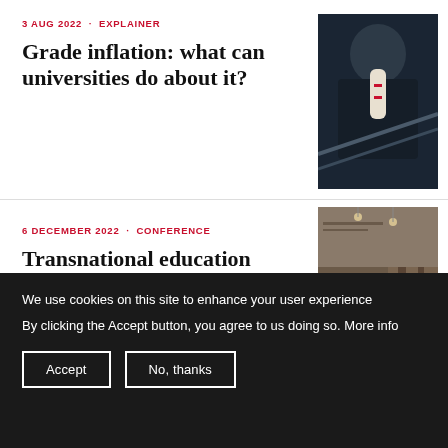3 AUG 2022 · EXPLAINER
Grade inflation: what can universities do about it?
[Figure (photo): Person in graduation gown holding a rolled diploma]
6 DECEMBER 2022 · CONFERENCE
Transnational education forum 2022: what makes TNE work?
[Figure (photo): People in a building interior, conference setting]
We use cookies on this site to enhance your user experience
By clicking the Accept button, you agree to us doing so. More info
Accept
No, thanks